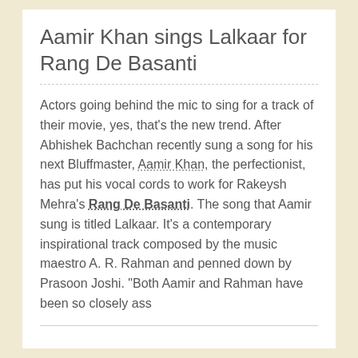Aamir Khan sings Lalkaar for Rang De Basanti
Actors going behind the mic to sing for a track of their movie, yes, that's the new trend. After Abhishek Bachchan recently sung a song for his next Bluffmaster, Aamir Khan, the perfectionist, has put his vocal cords to work for Rakeysh Mehra's Rang De Basanti. The song that Aamir sung is titled Lalkaar. It's a contemporary inspirational track composed by the music maestro A. R. Rahman and penned down by Prasoon Joshi. "Both Aamir and Rahman have been so closely ass
Kareena Kapoor opposite Hollywood hunk Jared Leto in 'Gandhi Park'
Kareena Kapoor is definitely going for different movies